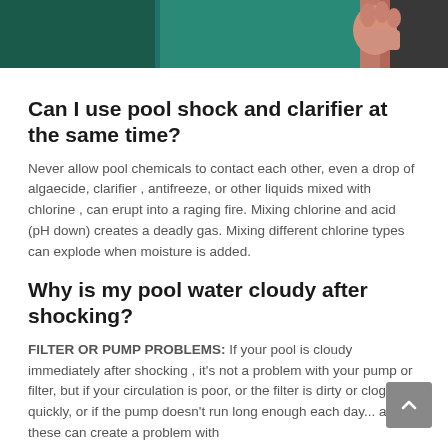[Figure (photo): Partial view of a person holding something near a teal/blue-green pool or surface, cropped at top of page]
Can I use pool shock and clarifier at the same time?
Never allow pool chemicals to contact each other, even a drop of algaecide, clarifier , antifreeze, or other liquids mixed with chlorine , can erupt into a raging fire. Mixing chlorine and acid (pH down) creates a deadly gas. Mixing different chlorine types can explode when moisture is added.
Why is my pool water cloudy after shocking?
FILTER OR PUMP PROBLEMS: If your pool is cloudy immediately after shocking , it's not a problem with your pump or filter, but if your circulation is poor, or the filter is dirty or clogs up quickly, or if the pump doesn't run long enough each day... all of these can create a problem with